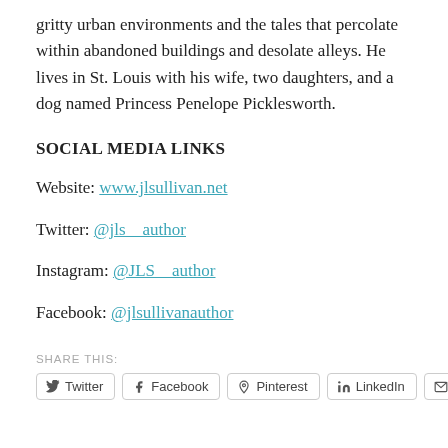gritty urban environments and the tales that percolate within abandoned buildings and desolate alleys. He lives in St. Louis with his wife, two daughters, and a dog named Princess Penelope Picklesworth.
SOCIAL MEDIA LINKS
Website: www.jlsullivan.net
Twitter: @jls__author
Instagram: @JLS__author
Facebook: @jlsullivanauthor
SHARE THIS:
Twitter  Facebook  Pinterest  LinkedIn  Email